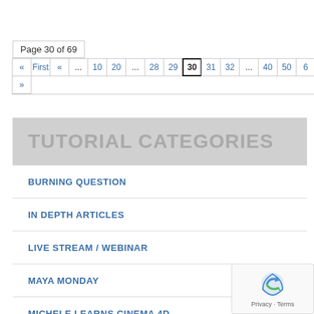Page 30 of 69
« First « ... 10 20 ... 28 29 30 31 32 ... 40 50 6... »
TUTORIAL CATEGORIES
BURNING QUESTION
IN DEPTH ARTICLES
LIVE STREAM / WEBINAR
MAYA MONDAY
MICHELE LEARNS CINEMA 4D